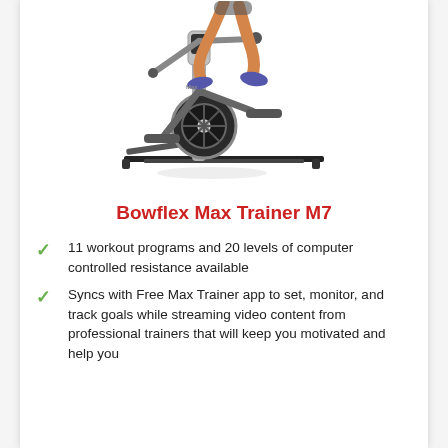[Figure (photo): A person (legs visible) using a Bowflex Max Trainer M7 elliptical/stair machine. The machine is silver and black with a large fan wheel visible.]
Bowflex Max Trainer M7
11 workout programs and 20 levels of computer controlled resistance available
Syncs with Free Max Trainer app to set, monitor, and track goals while streaming video content from professional trainers that will keep you motivated and help you reach your goals